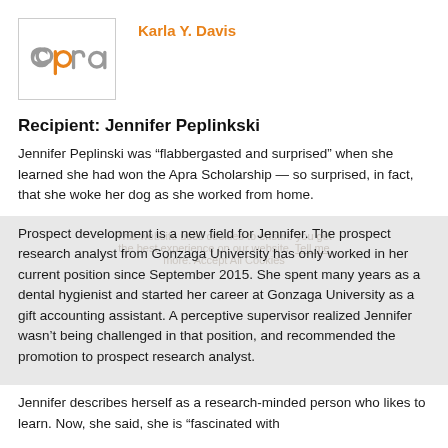[Figure (logo): APRA logo in gray and orange lettering inside a bordered box]
Karla Y. Davis
Recipient: Jennifer Peplinkski
Jennifer Peplinski was “flabbergasted and surprised” when she learned she had won the Apra Scholarship — so surprised, in fact, that she woke her dog as she worked from home.
Prospect development is a new field for Jennifer. The prospect research analyst from Gonzaga University has only worked in her current position since September 2015. She spent many years as a dental hygienist and started her career at Gonzaga University as a gift accounting assistant. A perceptive supervisor realized Jennifer wasn’t being challenged in that position, and recommended the promotion to prospect research analyst.
Jennifer describes herself as a research-minded person who likes to learn. Now, she said, she is “fascinated with